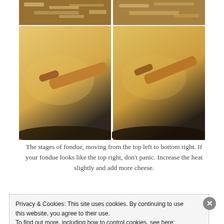[Figure (photo): A 2x2 grid of photos showing stages of cheese fondue being made in a dark pan with a wooden spoon. Top left shows shredded cheese with liquid, top right shows a somewhat separated mixture, bottom left and bottom right show smooth creamy orange-gold fondue sauce.]
The stages of fondue, moving from the top left to bottom right. If your fondue looks like the top right, don't panic. Increase the heat slightly and add more cheese.
Privacy & Cookies: This site uses cookies. By continuing to use this website, you agree to their use. To find out more, including how to control cookies, see here: Cookie Policy
Close and accept